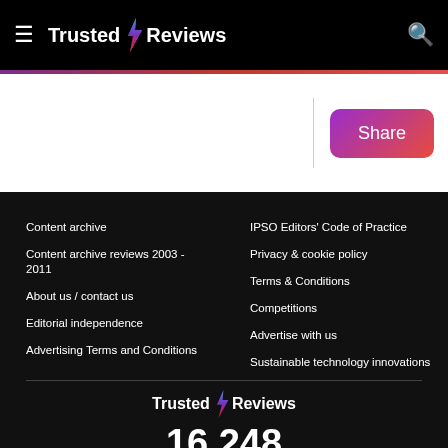Trusted Reviews
Share
Content archive
Content archive reviews 2003 - 2011
About us / contact us
Editorial independence
Advertising Terms and Conditions
IPSO Editors' Code of Practice
Privacy & cookie policy
Terms & Conditions
Competitions
Advertise with us
Sustainable technology innovations
Trusted Reviews 16,248